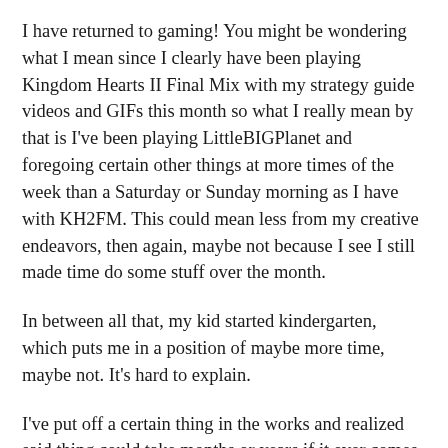I have returned to gaming! You might be wondering what I mean since I clearly have been playing Kingdom Hearts II Final Mix with my strategy guide videos and GIFs this month so what I really mean by that is I've been playing LittleBIGPlanet and foregoing certain other things at more times of the week than a Saturday or Sunday morning as I have with KH2FM. This could mean less from my creative endeavors, then again, maybe not because I see I still made time do some stuff over the month.
In between all that, my kid started kindergarten, which puts me in a position of maybe more time, maybe not. It's hard to explain.
I've put off a certain thing in the works and realized said thing could take months or years if it ever comes to fruition at all. In any case, I set up a schedule for myself